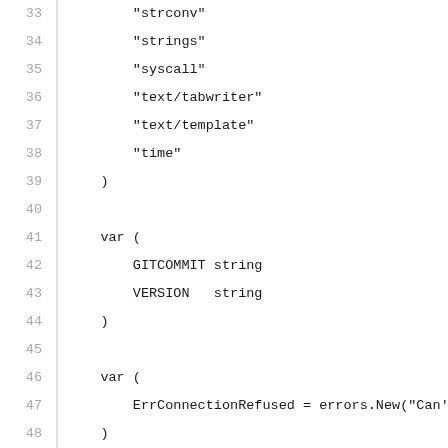33   "strconv"
34   "strings"
35   "syscall"
36   "text/tabwriter"
37   "text/template"
38   "time"
39 )
40
41 var (
42        GITCOMMIT string
43        VERSION   string
44 )
45
46 var (
47        ErrConnectionRefused = errors.New("Can'
48 )
49
50 func (cli *DockerCli) getMethod(name string) (f
51        methodName := "Cmd" + strings.ToUpper(n
52        method := reflect.ValueOf(cli).MethodBy
53        if !method.IsValid() {
54